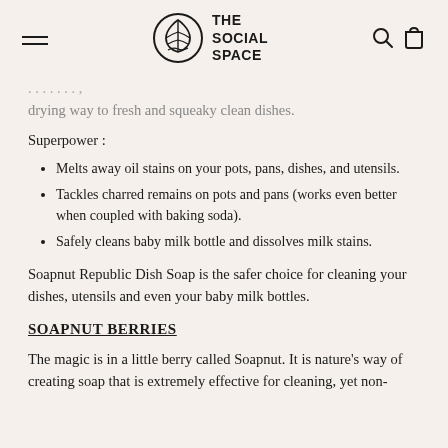THE SOCIAL SPACE
drying way to fresh and squeaky clean dishes.
Superpower :
Melts away oil stains on your pots, pans, dishes, and utensils.
Tackles charred remains on pots and pans (works even better when coupled with baking soda).
Safely cleans baby milk bottle and dissolves milk stains.
Soapnut Republic Dish Soap is the safer choice for cleaning your dishes, utensils and even your baby milk bottles.
SOAPNUT BERRIES
The magic is in a little berry called Soapnut. It is nature's way of creating soap that is extremely effective for cleaning, yet non-toxic and allergen free.